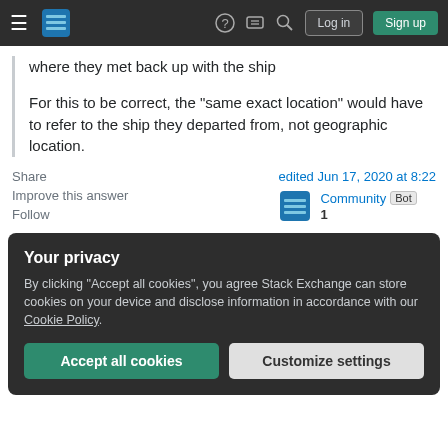Stack Exchange navigation bar with hamburger menu, logo, help, chat, search icons, Log in and Sign up buttons
where they met back up with the ship
For this to be correct, the "same exact location" would have to refer to the ship they departed from, not geographic location.
Share
Improve this answer
Follow
edited Jun 17, 2020 at 8:22
Community Bot
1
Your privacy
By clicking "Accept all cookies", you agree Stack Exchange can store cookies on your device and disclose information in accordance with our Cookie Policy.
Accept all cookies
Customize settings